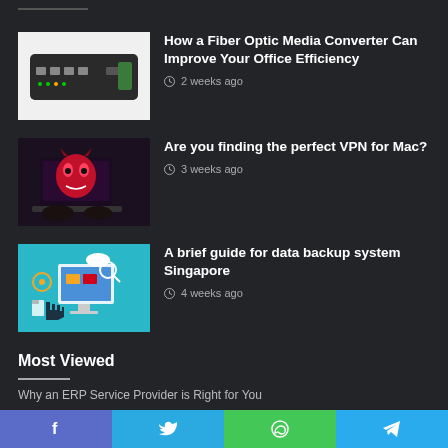[Figure (illustration): Fiber optic media converter device - black networking hardware with ports]
How a Fiber Optic Media Converter Can Improve Your Office Efficiency
2 weeks ago
[Figure (photo): Person using laptop with red monster/demon face on screen - VPN/cybersecurity concept]
Are you finding the perfect VPN for Mac?
3 weeks ago
[Figure (illustration): Data backup concept illustration with cloud, monitor, documents and hand icons on teal background]
A brief guide for data backup system Singapore
4 weeks ago
Most Viewed
Why an ERP Service Provider is Right for You